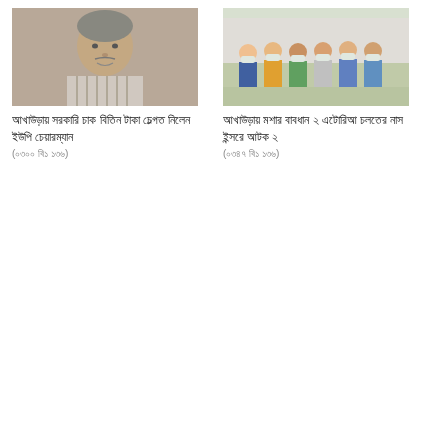[Figure (photo): Portrait photo of an elderly man with grey hair wearing a striped shirt]
আখাউড়ায় সরকারি চাক বিতিন টাকা চেল্গত নিলেন ইউপি চেয়ারম্যান
(০৩০০ বি১ ১৩৬)
[Figure (photo): Group photo of several people standing together outdoors]
আখাউড়ায় মশার বাবধান ২ এটোরিআ চলতের নাস ইন্সরে আটক ২
(০৩৪৭ বি১ ১৩৬)